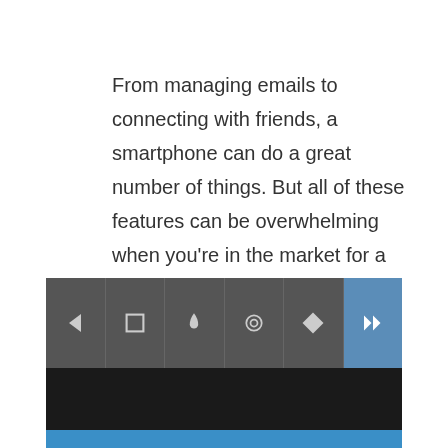From managing emails to connecting with friends, a smartphone can do a great number of things. But all of these features can be overwhelming when you're in the market for a new smartphone.

Whether you are a savvy, resourceful consumer, someon...
[Figure (screenshot): A mobile app toolbar UI with icons: back arrow, square, droplet, circle/target, diamond/paint, and a blue forward/next button (>>). Below is a dark panel area and a blue gradient strip at the bottom.]